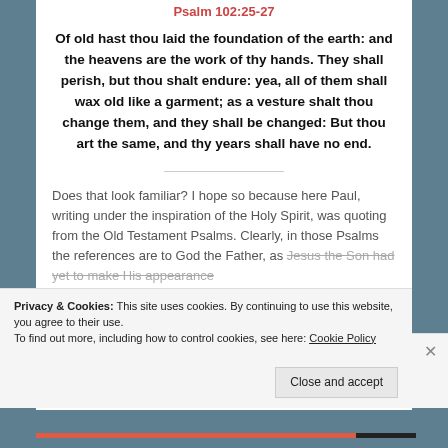Psalm 102:25-27
Of old hast thou laid the foundation of the earth: and the heavens are the work of thy hands. They shall perish, but thou shalt endure: yea, all of them shall wax old like a garment; as a vesture shalt thou change them, and they shall be changed: But thou art the same, and thy years shall have no end.
Does that look familiar? I hope so because here Paul, writing under the inspiration of the Holy Spirit, was quoting from the Old Testament Psalms. Clearly, in those Psalms the references are to God the Father, as Jesus the Son had yet to make His appearance.
Privacy & Cookies: This site uses cookies. By continuing to use this website, you agree to their use.
To find out more, including how to control cookies, see here: Cookie Policy
Close and accept